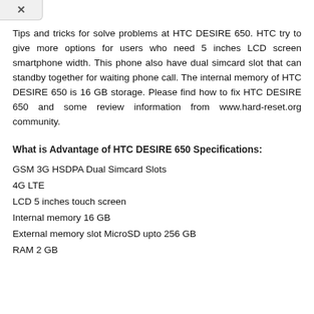Tips and tricks for solve problems at HTC DESIRE 650. HTC try to give more options for users who need 5 inches LCD screen smartphone width. This phone also have dual simcard slot that can standby together for waiting phone call. The internal memory of HTC DESIRE 650 is 16 GB storage. Please find how to fix HTC DESIRE 650 and some review information from www.hard-reset.org community.
What is Advantage of HTC DESIRE 650 Specifications:
GSM 3G HSDPA Dual Simcard Slots
4G LTE
LCD 5 inches touch screen
Internal memory 16 GB
External memory slot MicroSD upto 256 GB
RAM 2 GB